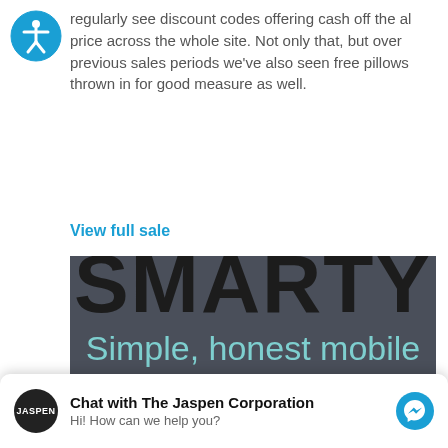[Figure (other): Accessibility icon — circle with person silhouette]
regularly see discount codes offering cash off the al price across the whole site. Not only that, but over previous sales periods we've also seen free pillows thrown in for good measure as well.
View full sale
[Figure (screenshot): SMARTY brand image with dark grey background showing 'SMARTY' in large bold black text and 'Simple, honest mobile' in teal text below]
Chat with The Jaspen Corporation
Hi! How can we help you?